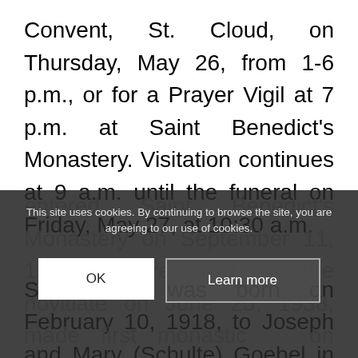Convent, St. Cloud, on Thursday, May 26, from 1-6 p.m., or for a Prayer Vigil at 7 p.m. at Saint Benedict's Monastery. Visitation continues at 9 a.m. until the funeral on Friday, May 27, at 10:30 a.m.
S. Cordis was born on February 10, 1918, to Joseph and Mary (Schulte) Goebel in New Munich, Minn. She entered Saint Benedict's Monastery on September 11, 1936, was received into the novitiate on June 25, 1938, made first monastic on December 8,
This site uses cookies. By continuing to browse the site, you are agreeing to our use of cookies.